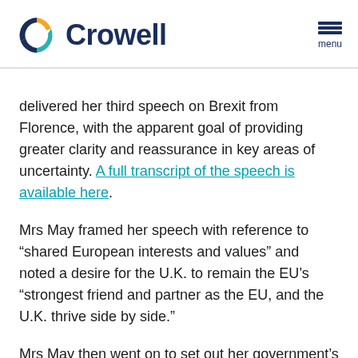Crowell (logo with menu)
delivered her third speech on Brexit from Florence, with the apparent goal of providing greater clarity and reassurance in key areas of uncertainty. A full transcript of the speech is available here.
Mrs May framed her speech with reference to “shared European interests and values” and noted a desire for the U.K. to remain the EU’s “strongest friend and partner as the EU, and the U.K. thrive side by side.”
Mrs May then went on to set out her government’s view on key areas of the negotiations.
Implementation Period